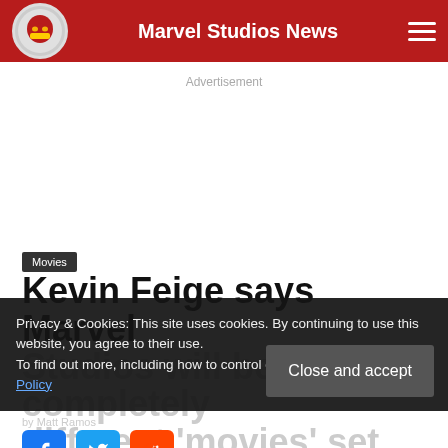Marvel Studios News
Advertisement
Movies
Kevin Feige says Marvel Studios will be completely different 'movies' set for after 'Avengers 4'
Privacy & Cookies: This site uses cookies. By continuing to use this website, you agree to their use. To find out more, including how to control cookies, see here: Cookie Policy
Close and accept